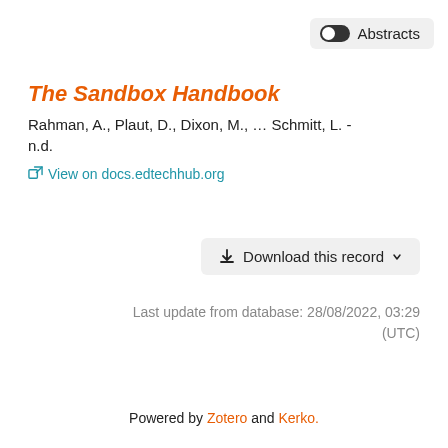Abstracts
The Sandbox Handbook
Rahman, A., Plaut, D., Dixon, M., … Schmitt, L. - n.d.
View on docs.edtechhub.org
Download this record
Last update from database: 28/08/2022, 03:29 (UTC)
Powered by Zotero and Kerko.